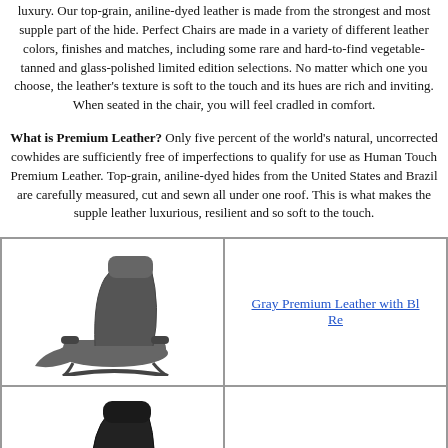luxury. Our top-grain, aniline-dyed leather is made from the strongest and most supple part of the hide. Perfect Chairs are made in a variety of different leather colors, finishes and matches, including some rare and hard-to-find vegetable-tanned and glass-polished limited edition selections. No matter which one you choose, the leather's texture is soft to the touch and its hues are rich and inviting. When seated in the chair, you will feel cradled in comfort.
What is Premium Leather? Only five percent of the world's natural, uncorrected cowhides are sufficiently free of imperfections to qualify for use as Human Touch Premium Leather. Top-grain, aniline-dyed hides from the United States and Brazil are carefully measured, cut and sewn all under one roof. This is what makes the supple leather luxurious, resilient and so soft to the touch.
[Figure (photo): Gray recliner chair with premium leather upholstery]
Gray Premium Leather with Black Re...
[Figure (photo): Black recliner chair with premium leather upholstery and chestnut base]
Black Premium Leather with Ches...